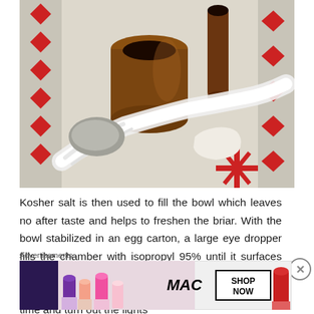[Figure (photo): Photo of a wooden pipe bowl and carved pipe on a decorative cloth/rug with red and white patterns, with white cotton wick material in the foreground]
Kosher salt is then used to fill the bowl which leaves no after taste and helps to freshen the briar.  With the bowl stabilized in an egg carton, a large eye dropper fills the chamber with isopropyl 95% until it surfaces over the salt.  After a few minutes, the alcohol is drawn into the salt and cotton wick, and I top it off one more time and turn out the lights
[Figure (other): MAC cosmetics advertisement banner showing lipsticks in purple, pink and red colors with MAC logo and SHOP NOW button]